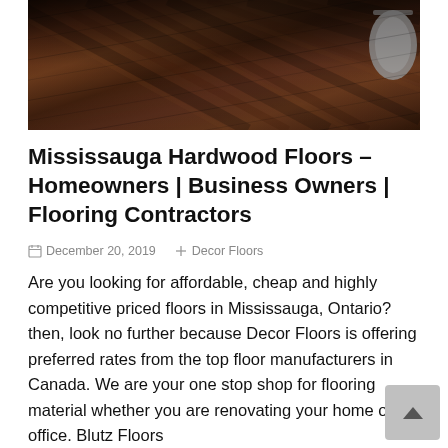[Figure (photo): Photograph of dark hardwood flooring with wood grain pattern visible, partially obscured at top. A round metallic basket/container is visible in the upper right corner.]
Mississauga Hardwood Floors – Homeowners | Business Owners | Flooring Contractors
December 20, 2019   Decor Floors
Are you looking for affordable, cheap and highly competitive priced floors in Mississauga, Ontario? then, look no further because Decor Floors is offering preferred rates from the top floor manufacturers in Canada. We are your one stop shop for flooring material whether you are renovating your home or office. Blutz Floors